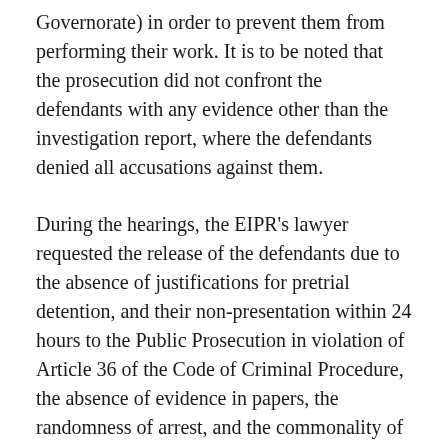Governorate) in order to prevent them from performing their work. It is to be noted that the prosecution did not confront the defendants with any evidence other than the investigation report, where the defendants denied all accusations against them.
During the hearings, the EIPR's lawyer requested the release of the defendants due to the absence of justifications for pretrial detention, and their non-presentation within 24 hours to the Public Prosecution in violation of Article 36 of the Code of Criminal Procedure, the absence of evidence in papers, the randomness of arrest, and the commonality of accusations. However, the Public Prosecution decided to hold the defendants in pretrial detention for 15 days pending the case. Subsequently, the sessions to renew their detention